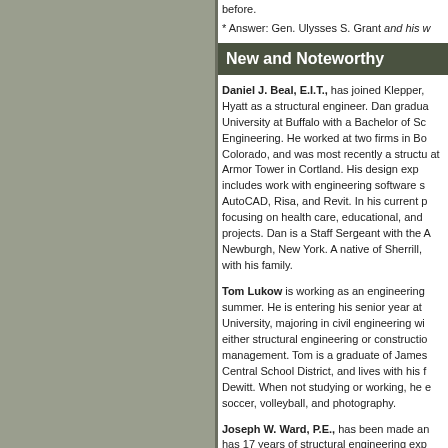before.
* Answer: Gen. Ulysses S. Grant and his w
New and Noteworthy
Daniel J. Beal, E.I.T., has joined Klepper, Hyatt as a structural engineer. Dan graduated from University at Buffalo with a Bachelor of Science in Engineering. He worked at two firms in Boulder, Colorado, and was most recently a structural engineer at Armor Tower in Cortland. His design experience includes work with engineering software such as AutoCAD, Risa, and Revit. In his current position focusing on health care, educational, and commercial projects. Dan is a Staff Sergeant with the Army National Guard in Newburgh, New York. A native of Sherrill, NY, he now lives with his family.
Tom Lukow is working as an engineering intern this summer. He is entering his senior year at Clarkson University, majoring in civil engineering with a focus in either structural engineering or construction management. Tom is a graduate of James Madison Central School District, and lives with his family in Dewitt. When not studying or working, he enjoys soccer, volleyball, and photography.
Joseph W. Ward, P.E., has been made a partner and has 17 years of structural engineering experience, which includes health care facilities, higher education, school districts, military, industrial, and residential projects.